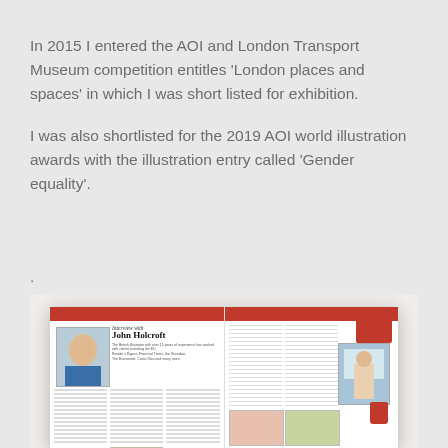In 2015 I entered the AOI and London Transport Museum competition entitles 'London places and spaces' in which I was short listed for exhibition.
I was also shortlisted for the 2019 AOI world illustration awards with the illustration entry called 'Gender equality'.
.
[Figure (photo): A photograph of an open magazine spread showing an 'Interview with John Holcroft' article with portrait photo, text columns, and illustrations including a red box and paint can.]